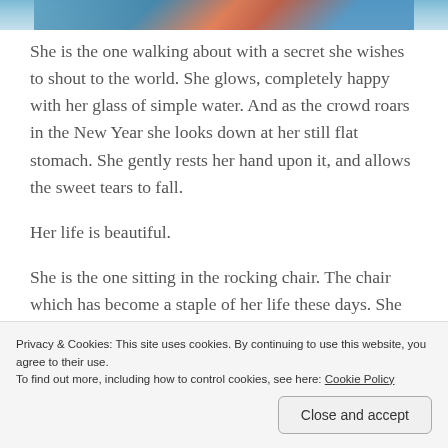[Figure (photo): Partial photo at top of page showing a person near water, cropped to a narrow strip]
She is the one walking about with a secret she wishes to shout to the world. She glows, completely happy with her glass of simple water. And as the crowd roars in the New Year she looks down at her still flat stomach. She gently rests her hand upon it, and allows the sweet tears to fall.
Her life is beautiful.
She is the one sitting in the rocking chair. The chair which has become a staple of her life these days. She catches the time out of the corner of her half sleeping eyes. Her eyes
Privacy & Cookies: This site uses cookies. By continuing to use this website, you agree to their use.
To find out more, including how to control cookies, see here: Cookie Policy
Close and accept